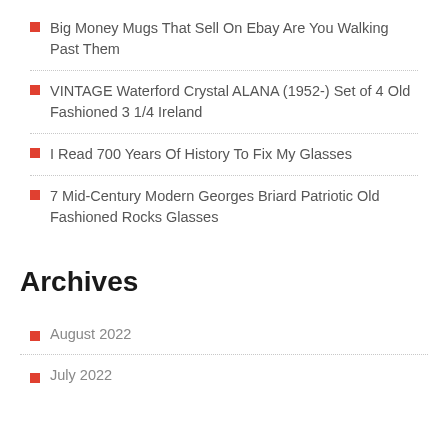Big Money Mugs That Sell On Ebay Are You Walking Past Them
VINTAGE Waterford Crystal ALANA (1952-) Set of 4 Old Fashioned 3 1/4 Ireland
I Read 700 Years Of History To Fix My Glasses
7 Mid-Century Modern Georges Briard Patriotic Old Fashioned Rocks Glasses
Archives
August 2022
July 2022